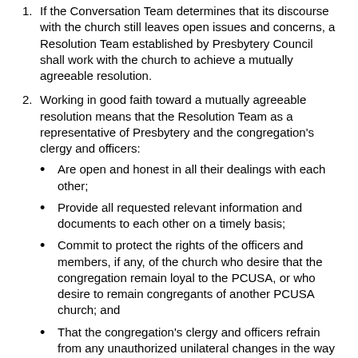1. If the Conversation Team determines that its discourse with the church still leaves open issues and concerns, a Resolution Team established by Presbytery Council shall work with the church to achieve a mutually agreeable resolution.
2. Working in good faith toward a mutually agreeable resolution means that the Resolution Team as a representative of Presbytery and the congregation's clergy and officers:
Are open and honest in all their dealings with each other;
Provide all requested relevant information and documents to each other on a timely basis;
Commit to protect the rights of the officers and members, if any, of the church who desire that the congregation remain loyal to the PCUSA, or who desire to remain congregants of another PCUSA church; and
That the congregation's clergy and officers refrain from any unauthorized unilateral changes in the way their assets are held or managed.